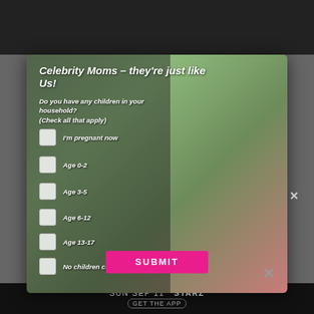[Figure (screenshot): Website screenshot background showing dark banner at top and TV advertisement at bottom with STARZ branding]
Celebrity Moms – they're just like Us!
Do you have any children in your household? (Check all that apply)
I'm pregnant now
Age 0-2
Age 3-5
Age 6-12
Age 13-17
No children currently living with me
SUBMIT
SUN SEP 11  STARZ
GET THE APP